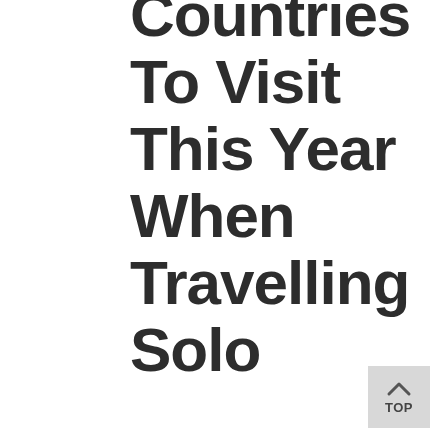Countries To Visit This Year When Travelling Solo
[Figure (other): Back to top button with upward chevron arrow and label TOP]